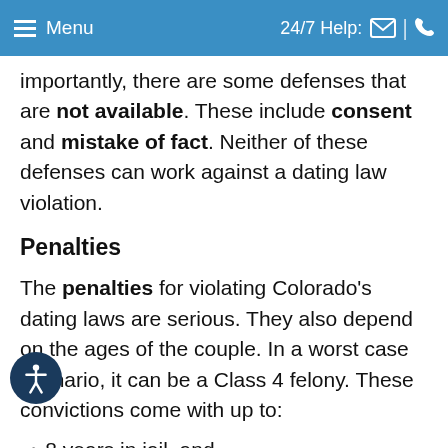Menu | 24/7 Help:
importantly, there are some defenses that are not available. These include consent and mistake of fact. Neither of these defenses can work against a dating law violation.
Penalties
The penalties for violating Colorado's dating laws are serious. They also depend on the ages of the couple. In a worst case scenario, it can be a Class 4 felony. These convictions come with up to:
8 years in jail, and
Up to $500,000 in fines.